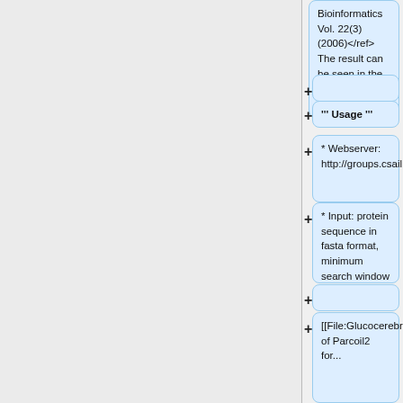Bioinformatics Vol. 22(3) (2006)</ref> The result can be seen in the picture on the right hand.
''' Usage '''
* Webserver: http://groups.csail.mit.edu/cb/paircoil2/paircoil2.html
* Input: protein sequence in fasta format, minimum search window and p-score as standard
[[File:Glucocerebrosidase_Parcoil2.gif||thumb||Result of Parcoil2 for...